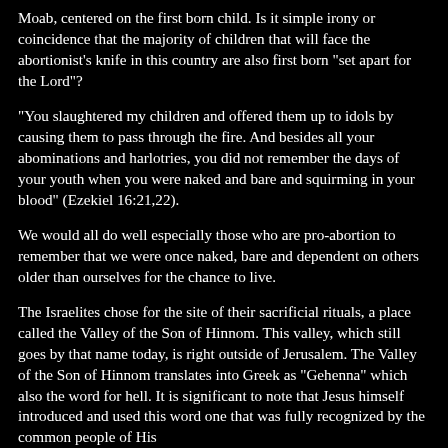Moab, centered on the first born child. Is it simple irony or coincidence that the majority of children that will face the abortionist's knife in this country are also first born "set apart for the Lord"?
"You slaughtered my children and offered them up to idols by causing them to pass through the fire. And besides all your abominations and harlotries, you did not remember the days of your youth when you were naked and bare and squirming in your blood" (Ezekiel 16:21,22).
We would all do well especially those who are pro-abortion to remember that we were once naked, bare and dependent on others older than ourselves for the chance to live.
The Israelites chose for the site of their sacrificial rituals, a place called the Valley of the Son of Hinnom. This valley, which still goes by that name today, is right outside of Jerusalem. The Valley of the Son of Hinnom translates into Greek as "Gehenna" which also the word for hell. It is significant to note that Jesus himself introduced and used this word one that was fully recognized by the common people of His day and was a reference to child sacrifices and...